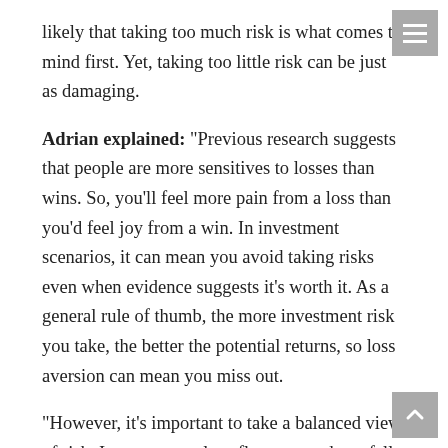likely that taking too much risk is what comes to mind first. Yet, taking too little risk can be just as damaging.
Adrian explained: “Previous research suggests that people are more sensitives to losses than wins. So, you’ll feel more pain from a loss than you’d feel joy from a win. In investment scenarios, it can mean you avoid taking risks even when evidence suggests it’s worth it. As a general rule of thumb, the more investment risk you take, the better the potential returns, so loss aversion can mean you miss out.
“However, it’s important to take a balanced view of risk. Investment values fluctuate and can fall as well as rise. You need to consider what your risk profile is when investing. It can help you avoid loss aversion while still choosing investments that are appropriate for you.”